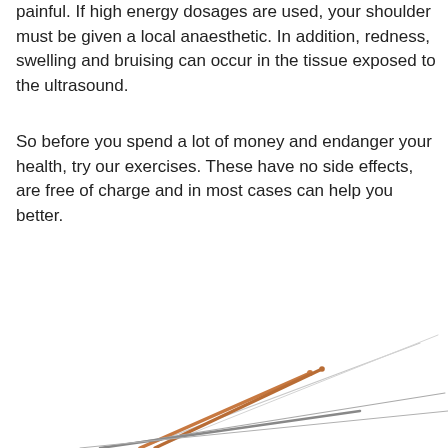painful. If high energy dosages are used, your shoulder must be given a local anaesthetic. In addition, redness, swelling and bruising can occur in the tissue exposed to the ultrasound.
So before you spend a lot of money and endanger your health, try our exercises. These have no side effects, are free of charge and in most cases can help you better.
[Figure (photo): Acupuncture needles photographed at an angle showing thin metallic needles with copper/gold colored handles against a white background]